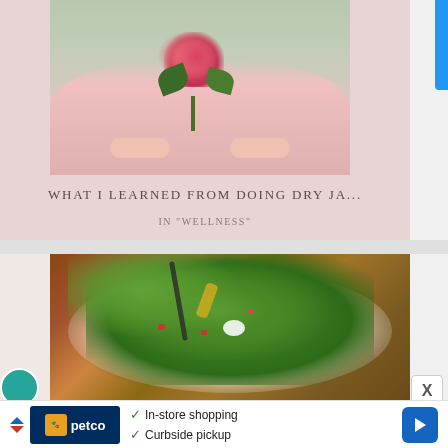[Figure (photo): Person in pink sweater holding a pink flower (camellia) outdoors with blurred background]
WHAT I LEARNED FROM DOING DRY JA...
IN "WELLNESS"
[Figure (photo): Close-up of a colorful salad bowl with greens, tomatoes, and dressing on a wooden table]
[Figure (screenshot): Petco advertisement banner with checkmarks for In-store shopping and Curbside pickup, with navigation arrow icon]